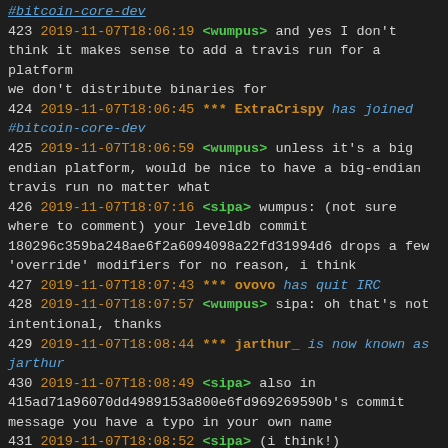#bitcoin-core-dev
423 2019-11-07T18:06:19 <wumpus> and yes I don't think it makes sense to add a travis run for a platform we don't distribute binaries for
424 2019-11-07T18:06:45 *** ExtraCrispy has joined #bitcoin-core-dev
425 2019-11-07T18:06:59 <wumpus> unless it's a big endian platform, would be nice to have a big-endian travis run no matter what
426 2019-11-07T18:07:16 <sipa> wumpus: (not sure where to comment) your leveldb commit 180296c359ba248ae6f2a6094098a22fd31994d6 drops a few 'override' modifiers for no reason, i think
427 2019-11-07T18:07:43 *** ovovo has quit IRC
428 2019-11-07T18:07:57 <wumpus> sipa: oh that's not intentional, thanks
429 2019-11-07T18:08:44 *** jarthur_ is now known as jarthur
430 2019-11-07T18:08:49 <sipa> also in 415ad71a96070dd4989153a800e6fd969269590b's commit message you have a typo in your own name
431 2019-11-07T18:08:52 <sipa> (i think!)
432 2019-11-07T18:08:58 <elichai2> wumpus: I don't even have ppc, was just excited that I found this new Travis feature, and always looking for ways to contribute :)
433 2019-11-07T18:10:26 *** diogosergio has quit IRC
434 2019-11-07T18:10:44 <wumpus> sipa: thanks, will